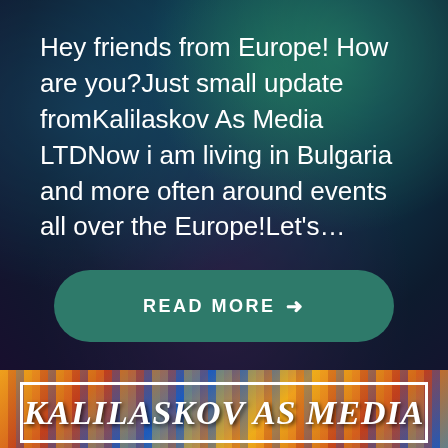Hey friends from Europe! How are you?Just small update fromKalilaskov As Media LTDNow i am living in Bulgaria and more often around events all over the Europe!Let's…
[Figure (other): Button reading READ MORE with arrow, on dark teal overlay background with colorful artistic/event imagery]
KALILASKOV AS MEDIA